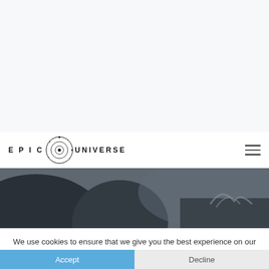[Figure (logo): Epic Universe logo with orbital/planet icon and spaced lettering text]
[Figure (photo): Dark hero image showing a close-up silhouette or dark figure, grayscale/dark tones]
We use cookies to ensure that we give you the best experience on our website.
Accept
Decline